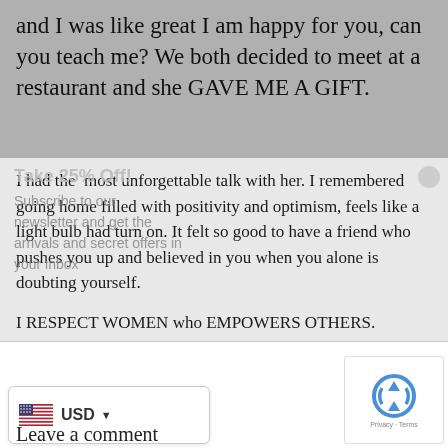and I was like great I am happy for you, can you teach me? We both decided to meet at a restaurant and she GAVE ME A GIFT.
I had the  most unforgettable talk with her. I remembered going home filled with positivity and optimism, feels like a light bulb had turn on. It felt so good to have a friend who pushes you up and believed in you when you alone is doubting yourself.
I RESPECT WOMEN who EMPOWERS OTHERS.
[Figure (screenshot): Facebook Share button with border]
Subscribe to our newsletter and get the arrivals and secret offers in your inbox
[Figure (screenshot): SIGN UP NOW pink button]
[Figure (screenshot): USD currency selector with US flag]
[Figure (screenshot): Google reCAPTCHA widget]
Leave a comment